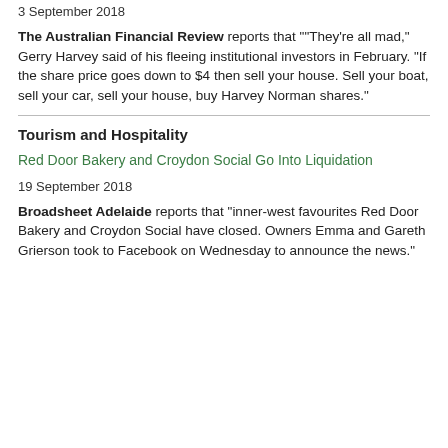3 September 2018
The Australian Financial Review reports that ""They're all mad," Gerry Harvey said of his fleeing institutional investors in February. "If the share price goes down to $4 then sell your house. Sell your boat, sell your car, sell your house, buy Harvey Norman shares."
Tourism and Hospitality
Red Door Bakery and Croydon Social Go Into Liquidation
19 September 2018
Broadsheet Adelaide reports that “inner-west favourites Red Door Bakery and Croydon Social have closed. Owners Emma and Gareth Grierson took to Facebook on Wednesday to announce the news.”